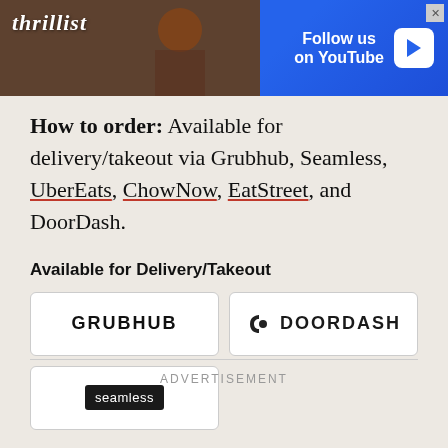[Figure (screenshot): Thrillist advertisement banner with 'Follow us on YouTube' call-to-action on blue background with play button icon]
How to order: Available for delivery/takeout via Grubhub, Seamless, UberEats, ChowNow, EatStreet, and DoorDash.
Available for Delivery/Takeout
[Figure (logo): Grubhub logo button]
[Figure (logo): DoorDash logo button]
[Figure (logo): Seamless logo button]
ADVERTISEMENT